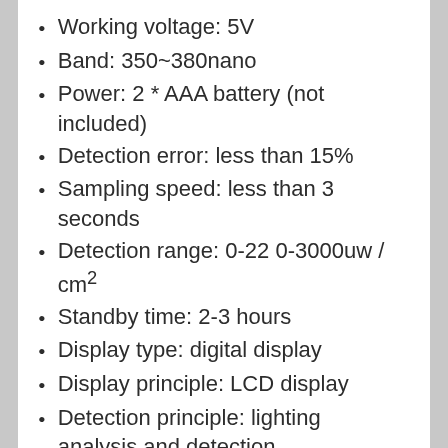Working voltage: 5V
Band: 350~380nano
Power: 2 * AAA battery (not included)
Detection error: less than 15%
Sampling speed: less than 3 seconds
Detection range: 0-22 0-3000uw / cm²
Standby time: 2-3 hours
Display type: digital display
Display principle: LCD display
Detection principle: lighting analysis and detection
Application technology: sensor